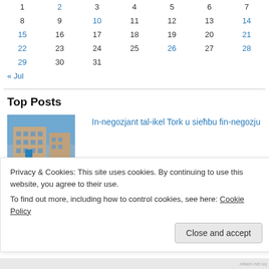| Sun | Mon | Tue | Wed | Thu | Fri | Sat |
| --- | --- | --- | --- | --- | --- | --- |
| 1 | 2 | 3 | 4 | 5 | 6 | 7 |
| 8 | 9 | 10 | 11 | 12 | 13 | 14 |
| 15 | 16 | 17 | 18 | 19 | 20 | 21 |
| 22 | 23 | 24 | 25 | 26 | 27 | 28 |
| 29 | 30 | 31 |  |  |  |  |
« Jul
Top Posts
[Figure (photo): Photo of a building/street scene]
In-negozjant tal-ikel Tork u sieħbu fin-negozju
Privacy & Cookies: This site uses cookies. By continuing to use this website, you agree to their use.
To find out more, including how to control cookies, see here: Cookie Policy
Close and accept